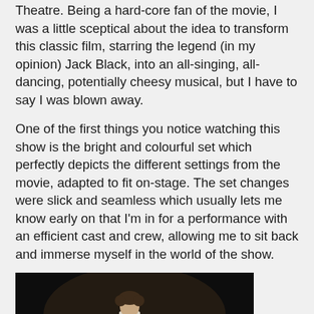Theatre. Being a hard-core fan of the movie, I was a little sceptical about the idea to transform this classic film, starring the legend (in my opinion) Jack Black, into an all-singing, all-dancing, potentially cheesy musical, but I have to say I was blown away.
One of the first things you notice watching this show is the bright and colourful set which perfectly depicts the different settings from the movie, adapted to fit on-stage. The set changes were slick and seamless which usually lets me know early on that I'm in for a performance with an efficient cast and crew, allowing me to sit back and immerse myself in the world of the show.
[Figure (photo): A stage performance photo showing a male performer playing guitar with several children in dark maroon/burgundy vests on stage against a dark background.]